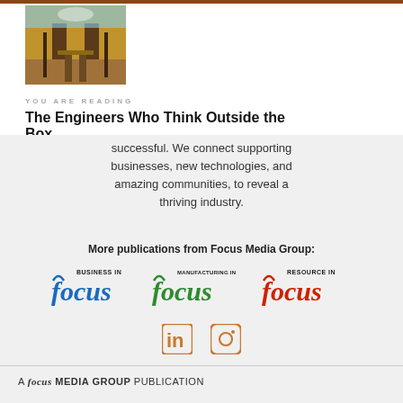[Figure (photo): Construction/excavation site photo showing workers in a trench]
YOU ARE READING
The Engineers Who Think Outside the Box
successful. We connect supporting businesses, new technologies, and amazing communities, to reveal a thriving industry.
More publications from Focus Media Group:
[Figure (logo): Business in Focus logo (blue)]
[Figure (logo): Manufacturing in Focus logo (green)]
[Figure (logo): Resource in Focus logo (red)]
[Figure (logo): LinkedIn and Instagram social media icons]
A FOCUS MEDIA GROUP PUBLICATION